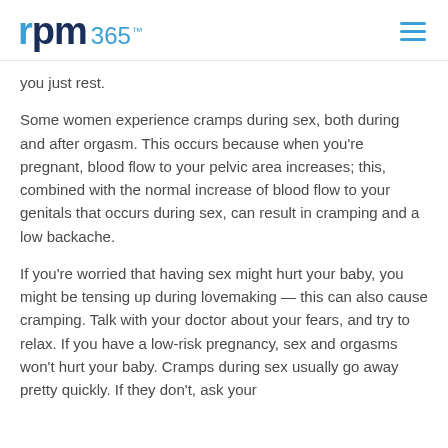rpm365™
you just rest.
Some women experience cramps during sex, both during and after orgasm. This occurs because when you're pregnant, blood flow to your pelvic area increases; this, combined with the normal increase of blood flow to your genitals that occurs during sex, can result in cramping and a low backache.
If you're worried that having sex might hurt your baby, you might be tensing up during lovemaking — this can also cause cramping. Talk with your doctor about your fears, and try to relax. If you have a low-risk pregnancy, sex and orgasms won't hurt your baby. Cramps during sex usually go away pretty quickly. If they don't, ask your